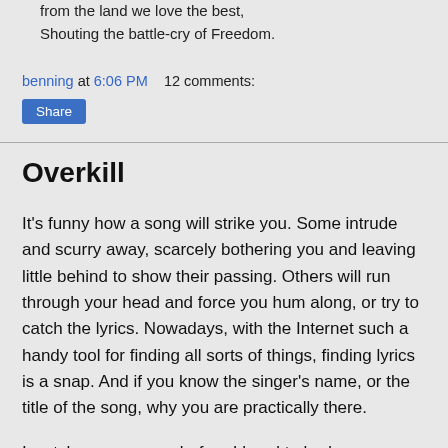from the land we love the best,
Shouting the battle-cry of Freedom.
benning at 6:06 PM    12 comments:
Share
Overkill
It's funny how a song will strike you. Some intrude and scurry away, scarcely bothering you and leaving little behind to show their passing. Others will run through your head and force you hum along, or try to catch the lyrics. Nowadays, with the Internet such a handy tool for finding all sorts of things, finding lyrics is a snap. And if you know the singer's name, or the title of the song, why you are practically there.
I watch some reruns before I head to bed, among them "Scrubs" which I find quite funny. The local station used to